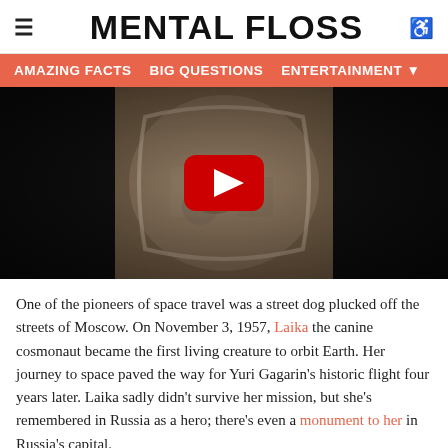≡  MENTAL FLOSS  ♿
AMAZING FACTS   BIG QUESTIONS   ENTERTAINMENT ▾
[Figure (photo): Vintage photograph of Laika the dog in a space capsule, shown inside a spherical module with equipment, black and white with slight colorization. A large YouTube play button overlay is shown in the center.]
One of the pioneers of space travel was a street dog plucked off the streets of Moscow. On November 3, 1957, Laika the canine cosmonaut became the first living creature to orbit Earth. Her journey to space paved the way for Yuri Gagarin's historic flight four years later. Laika sadly didn't survive her mission, but she's remembered in Russia as a hero; there's even a monument to her in Russia's capital.